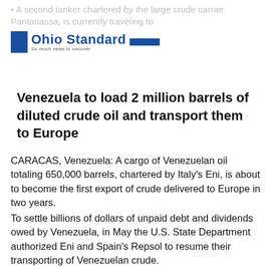A second tanker chartered by the large crude carrier Pantanassa, is currently traveling to
[Figure (logo): Ohio Standard logo with blue bars and tagline 'So much news to uncover']
Venezuela to load 2 million barrels of diluted crude oil and transport them to Europe
CARACAS, Venezuela: A cargo of Venezuelan oil totaling 650,000 barrels, chartered by Italy's Eni, is about to become the first export of crude delivered to Europe in two years.
To settle billions of dollars of unpaid debt and dividends owed by Venezuela, in May the U.S. State Department authorized Eni and Spain's Repsol to resume their transporting of Venezuelan crude.
According to Reuters, a second tanker chartered by the large crude carrier Pantanassa, is currently traveling to Venezuela to load 2 million barrels of